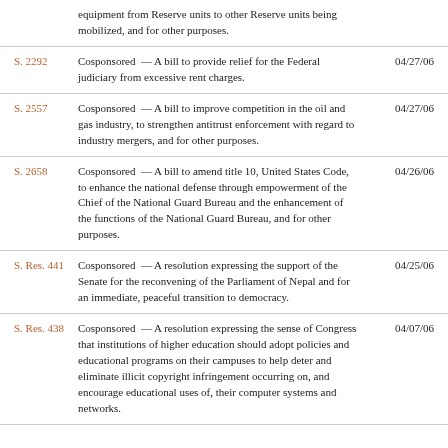| Bill | Description | Date |
| --- | --- | --- |
|  | equipment from Reserve units to other Reserve units being mobilized, and for other purposes. |  |
| S. 2292 | Cosponsored — A bill to provide relief for the Federal judiciary from excessive rent charges. | 04/27/06 |
| S. 2557 | Cosponsored — A bill to improve competition in the oil and gas industry, to strengthen antitrust enforcement with regard to industry mergers, and for other purposes. | 04/27/06 |
| S. 2658 | Cosponsored — A bill to amend title 10, United States Code, to enhance the national defense through empowerment of the Chief of the National Guard Bureau and the enhancement of the functions of the National Guard Bureau, and for other purposes. | 04/26/06 |
| S. Res. 441 | Cosponsored — A resolution expressing the support of the Senate for the reconvening of the Parliament of Nepal and for an immediate, peaceful transition to democracy. | 04/25/06 |
| S. Res. 438 | Cosponsored — A resolution expressing the sense of Congress that institutions of higher education should adopt policies and educational programs on their campuses to help deter and eliminate illicit copyright infringement occurring on, and encourage educational uses of, their computer systems and networks. | 04/07/06 |